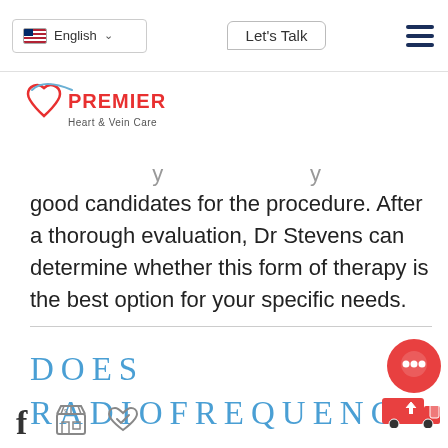English | Let's Talk
[Figure (logo): Premier Heart & Vein Care logo with heart icon]
good candidates for the procedure. After a thorough evaluation, Dr Stevens can determine whether this form of therapy is the best option for your specific needs.
DOES RADIOFREQUENCY